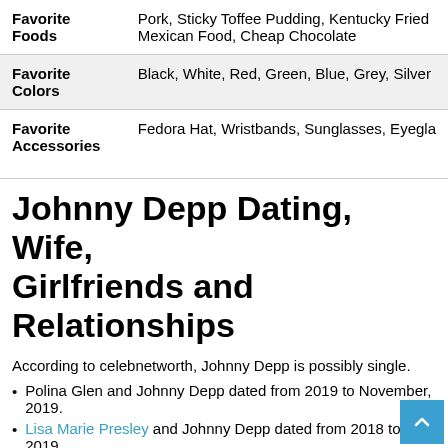| Category | Value |
| --- | --- |
| Favorite Foods | Pork, Sticky Toffee Pudding, Kentucky Fried Mexican Food, Cheap Chocolate |
| Favorite Colors | Black, White, Red, Green, Blue, Grey, Silver |
| Favorite Accessories | Fedora Hat, Wristbands, Sunglasses, Eyegla... |
Johnny Depp Dating, Wife, Girlfriends and Relationships
According to celebnetworth, Johnny Depp is possibly single.
Polina Glen and Johnny Depp dated from 2019 to November, 2019.
Lisa Marie Presley and Johnny Depp dated from 2018 to 2019.